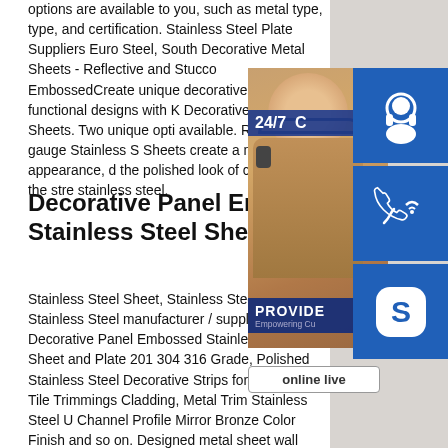options are available to you, such as metal type, type, and certification. Stainless Steel Plate Suppliers Euro Steel, South Decorative Metal Sheets - Reflective and Stucco EmbossedCreate unique decorative and functional designs with K Decorative Metal Sheets. Two unique opti available. Reflective 22 gauge Stainless S Sheets create a mirror like appearance, d the polished look of chrome with the stre stainless steel.
[Figure (photo): Customer service representative with headset, with 24/7 service icons including headset, phone, and Skype icons, PROVIDE Empowering Customers banner, and online live button]
Decorative Panel Embos Stainless Steel Sheet an
Stainless Steel Sheet, Stainless Steel Pla Stainless Steel manufacturer / supplier i offering Decorative Panel Embossed Stainless Steel Sheet and Plate 201 304 316 Grade, Polished Stainless Steel Decorative Strips for Wall Panel Tile Trimmings Cladding, Metal Trim Stainless Steel U Channel Profile Mirror Bronze Color Finish and so on. Designed metal sheet wall cladding - stainless-platehigh quality steel hammered sheet mirror finish decorative stainless steel silicon anode No...